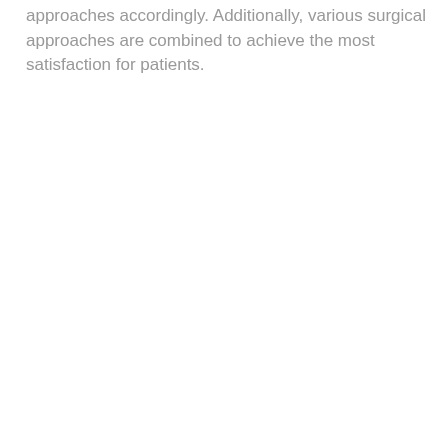approaches accordingly. Additionally, various surgical approaches are combined to achieve the most satisfaction for patients.